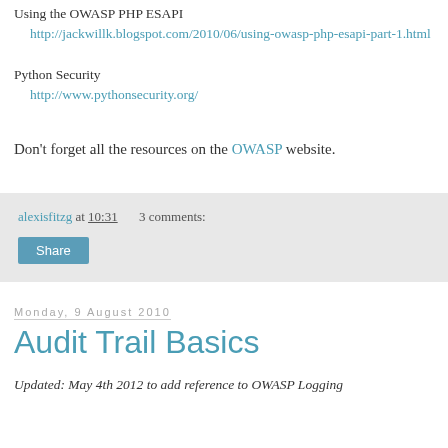Using the OWASP PHP ESAPI
  http://jackwillk.blogspot.com/2010/06/using-owasp-php-esapi-part-1.html
Python Security
  http://www.pythonsecurity.org/
Don't forget all the resources on the OWASP website.
alexisfitzg at 10:31    3 comments:
Share
Monday, 9 August 2010
Audit Trail Basics
Updated: May 4th 2012 to add reference to OWASP Logging Cheat Sheet